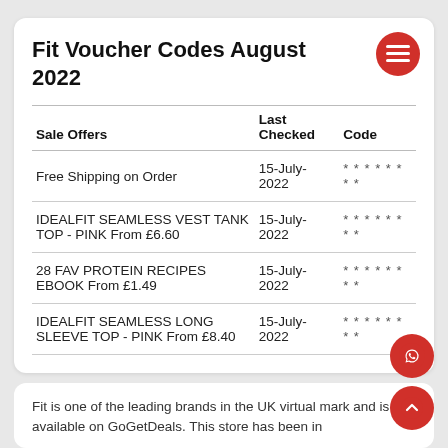Fit Voucher Codes August 2022
| Sale Offers | Last Checked | Code |
| --- | --- | --- |
| Free Shipping on Order | 15-July-2022 | ******** |
| IDEALFIT SEAMLESS VEST TANK TOP - PINK From £6.60 | 15-July-2022 | ******** |
| 28 FAV PROTEIN RECIPES EBOOK From £1.49 | 15-July-2022 | ******** |
| IDEALFIT SEAMLESS LONG SLEEVE TOP - PINK From £8.40 | 15-July-2022 | ******** |
Fit is one of the leading brands in the UK virtual mark and is available on GoGetDeals. This store has been in